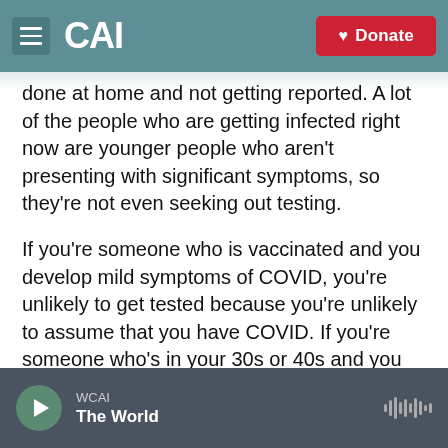CAI — Donate
done at home and not getting reported. A lot of the people who are getting infected right now are younger people who aren't presenting with significant symptoms, so they're not even seeking out testing.
If you're someone who is vaccinated and you develop mild symptoms of COVID, you're unlikely to get tested because you're unlikely to assume that you have COVID. If you're someone who's in your 30s or 40s and you develop mild symptoms of a cold, you're unlikely to seek out testing because once again, you're unlikely to think that you have
WCAI
The World